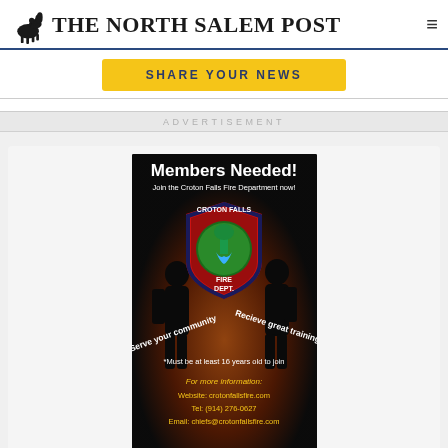THE NORTH SALEM POST
SHARE YOUR NEWS
ADVERTISEMENT
[Figure (infographic): Croton Falls Fire Department recruitment advertisement. Black background with silhouettes of firefighters. Red shield badge with 'CROTON FALLS FIRE DEPT.' and green waterfall emblem. Text: 'Members Needed! Join the Croton Falls Fire Department now! Serve your community. Recieve great training. *Must be at least 16 years old to join. For more information: Website: crotonfallsfire.com Tel: (914) 276-0627 Email: chiefs@crotonfallsfire.com']